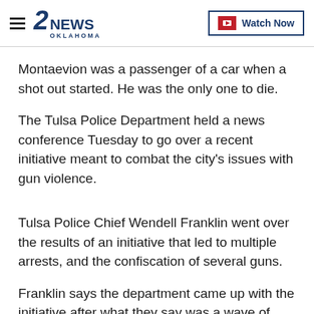2NEWS OKLAHOMA | Watch Now
Montaevion was a passenger of a car when a shot out started. He was the only one to die.
The Tulsa Police Department held a news conference Tuesday to go over a recent initiative meant to combat the city's issues with gun violence.
Tulsa Police Chief Wendell Franklin went over the results of an initiative that led to multiple arrests, and the confiscation of several guns.
Franklin says the department came up with the initiative after what they say was a wave of crime last